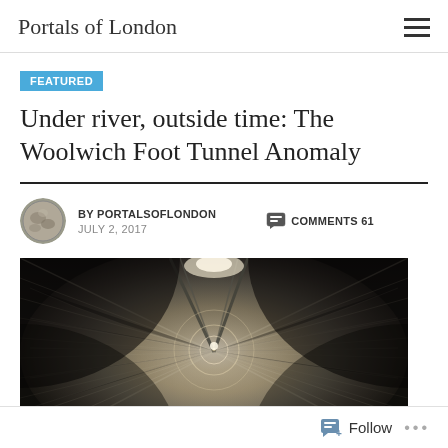Portals of London
FEATURED
Under river, outside time: The Woolwich Foot Tunnel Anomaly
BY PORTALSOFLONDON   COMMENTS 61   JULY 2, 2017
[Figure (photo): Long-exposure photograph looking down the Woolwich Foot Tunnel, showing a circular tunnel with tiles on the walls, brightly lit in the centre and receding into the distance, with motion blur on the ceiling and sides creating a dramatic perspective effect.]
Follow ...